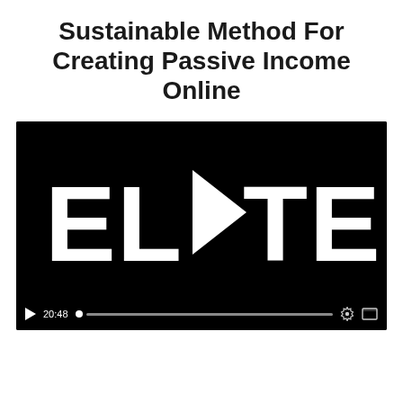Sustainable Method For Creating Passive Income Online
[Figure (screenshot): Video player with black background showing the word ELITE in large white bold letters, with a play button triangle replacing the 'I'. Controls bar at bottom shows play button, timestamp 20:48, progress bar with dot, settings gear icon, and fullscreen icon.]